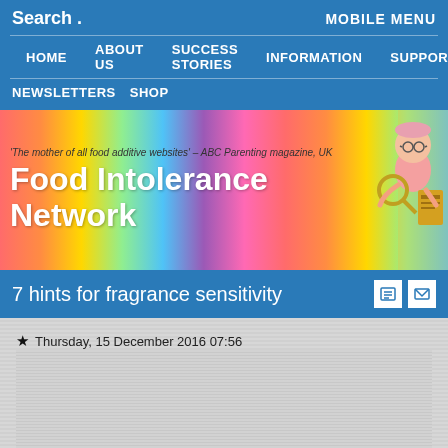Search . MOBILE MENU
HOME  ABOUT US  SUCCESS STORIES  INFORMATION  SUPPORT
NEWSLETTERS  SHOP
[Figure (illustration): Food Intolerance Network banner with rainbow gradient background and cartoon figure of person reading a label. Tagline: 'The mother of all food additive websites' - ABC Parenting magazine, UK]
7 hints for fragrance sensitivity
Thursday, 15 December 2016 07:56